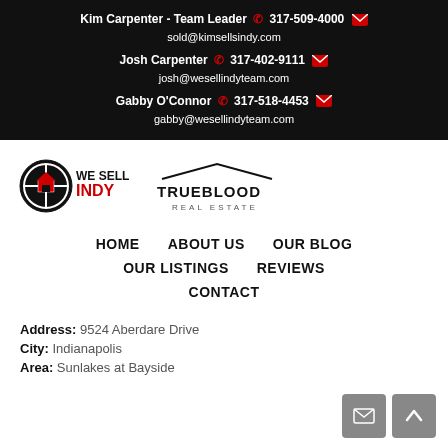Kim Carpenter - Team Leader 317-509-4000 sold@kimsellsindy.com Josh Carpenter 317-402-9111 josh@wesellindyteam.com Gabby O'Connor 317-518-4453 gabby@wesellindyteam.com
[Figure (logo): We Sell Indy and Trueblood Real Estate logos]
HOME
ABOUT US
OUR BLOG
OUR LISTINGS
REVIEWS
CONTACT
Address: 9524 Aberdare Drive
City: Indianapolis
Area: Sunlakes at Bayside